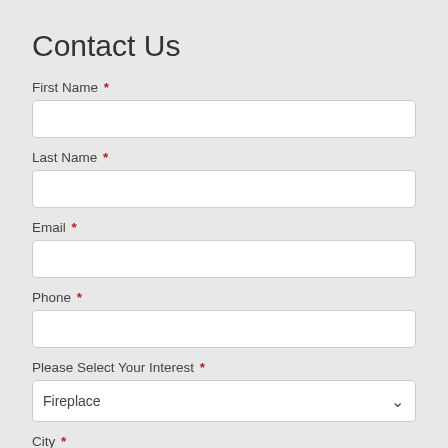Contact Us
First Name *
Last Name *
Email *
Phone *
Please Select Your Interest *
Fireplace
City *